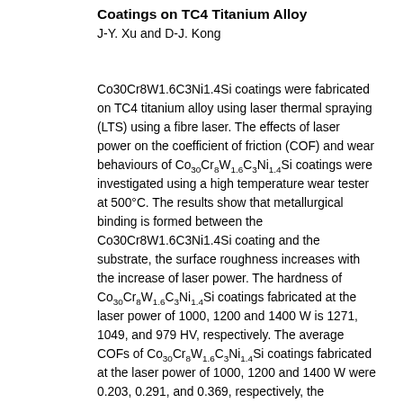Coatings on TC4 Titanium Alloy
J-Y. Xu and D-J. Kong
Co30Cr8W1.6C3Ni1.4Si coatings were fabricated on TC4 titanium alloy using laser thermal spraying (LTS) using a fibre laser. The effects of laser power on the coefficient of friction (COF) and wear behaviours of Co30Cr8W1.6C3Ni1.4Si coatings were investigated using a high temperature wear tester at 500°C. The results show that metallurgical binding is formed between the Co30Cr8W1.6C3Ni1.4Si coating and the substrate, the surface roughness increases with the increase of laser power. The hardness of Co30Cr8W1.6C3Ni1.4Si coatings fabricated at the laser power of 1000, 1200 and 1400 W is 1271, 1049, and 979 HV, respectively. The average COFs of Co30Cr8W1.6C3Ni1.4Si coatings fabricated at the laser power of 1000, 1200 and 1400 W were 0.203, 0.291, and 0.369, respectively, the corresponding wear rates are 8.314×10⁻⁵, 8.404×10⁻⁵ and 8.884×10⁻⁵ m³/N...